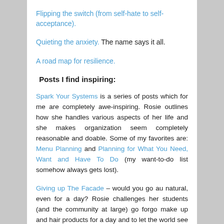Flipping the switch (from self-hate to self-acceptance).
Quieting the anxiety. The name says it all.
A road map for resilience.
Posts I find inspiring:
Spark Your Systems is a series of posts which for me are completely awe-inspiring. Rosie outlines how she handles various aspects of her life and she makes organization seem completely reasonable and doable. Some of my favorites are: Menu Planning and Planning for What You Need, Want and Have To Do (my want-to-do list somehow always gets lost).
Giving up The Facade – would you go au natural, even for a day? Rosie challenges her students (and the community at large) go forgo make up and hair products for a day and to let the world see the real person. I'm fascinated by